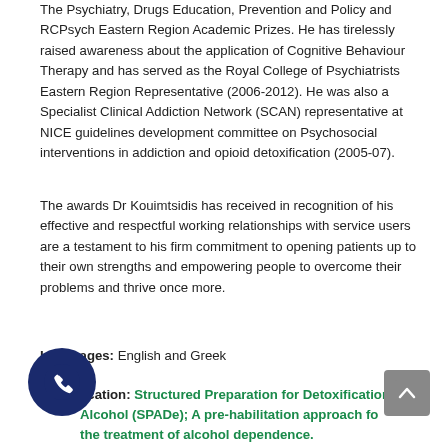The Psychiatry, Drugs Education, Prevention and Policy and RCPsych Eastern Region Academic Prizes. He has tirelessly raised awareness about the application of Cognitive Behaviour Therapy and has served as the Royal College of Psychiatrists Eastern Region Representative (2006-2012). He was also a Specialist Clinical Addiction Network (SCAN) representative at NICE guidelines development committee on Psychosocial interventions in addiction and opioid detoxification (2005-07).
The awards Dr Kouimtsidis has received in recognition of his effective and respectful working relationships with service users are a testament to his firm commitment to opening patients up to their own strengths and empowering people to overcome their problems and thrive once more.
Languages: English and Greek
Publication: Structured Preparation for Detoxification Alcohol (SPADe); A pre-habilitation approach for the treatment of alcohol dependence.